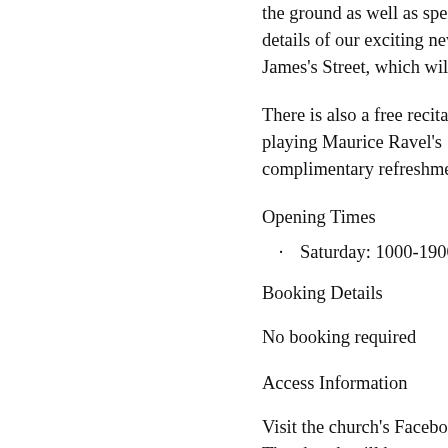the ground as well as special wo... details of our exciting new roun... James's Street, which will be ha...
There is also a free recital at 6 p... playing Maurice Ravel's String ... complimentary refreshments.
Opening Times
Saturday: 1000-1900
Booking Details
No booking required
Access Information
Visit the church's Facebook page... The church will be open from 9... fundraising Ride & Stride day fo... Refreshments will be available...